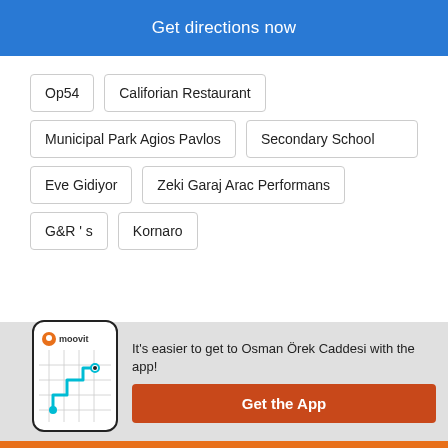Get directions now
Op54
Califorian Restaurant
Municipal Park Agios Pavlos
Secondary School
Eve Gidiyor
Zeki Garaj Arac Performans
G&R ' s
Kornaro
[Figure (screenshot): Moovit app phone screenshot with route map]
It's easier to get to Osman Örek Caddesi with the app!
Get the App